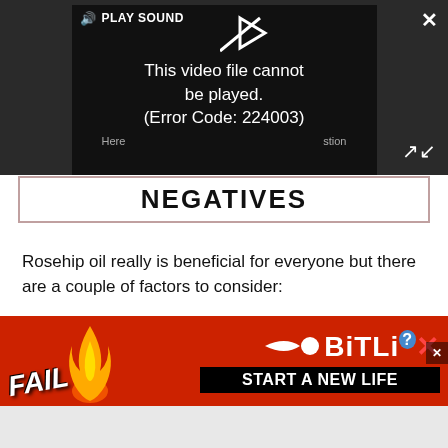[Figure (screenshot): Video player showing error message: 'This video file cannot be played. (Error Code: 224003)' with PLAY SOUND button and play arrow icon on dark background]
NEGATIVES
Rosehip oil really is beneficial for everyone but there are a couple of factors to consider:
Avoid the under-eye area: All facial oils, not just rosehip oil, aren't great under the eye. This is because
[Figure (screenshot): BitLife advertisement banner showing 'FAIL' text, cartoon character, flame, BitLife logo with question mark, and 'START A NEW LIFE' text on red background]